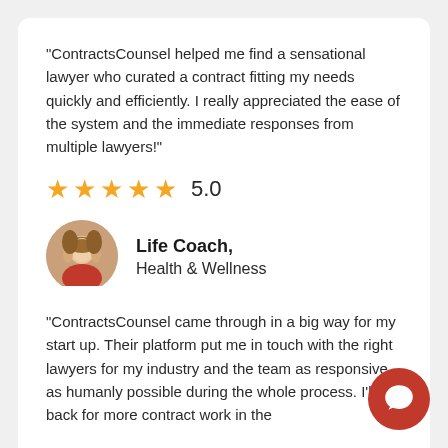"ContractsCounsel helped me find a sensational lawyer who curated a contract fitting my needs quickly and efficiently. I really appreciated the ease of the system and the immediate responses from multiple lawyers!"
[Figure (other): Five gold star rating with numeric score 5.0]
[Figure (photo): Circular avatar photo of a woman with blonde hair wearing a red top]
Life Coach,
Health & Wellness
"ContractsCounsel came through in a big way for my start up. Their platform put me in touch with the right lawyers for my industry and the team as responsive as humanly possible during the whole process. I'll be back for more contract work in the